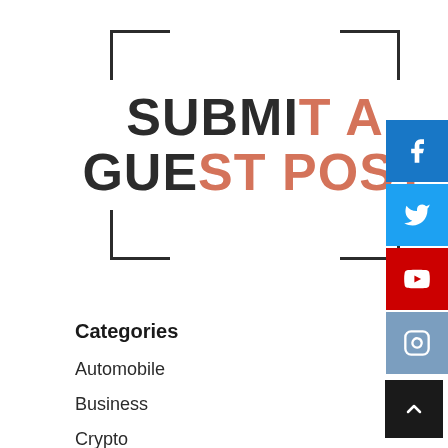[Figure (logo): Submit a Guest Post logo with corner bracket design. Text reads SUBMIT A GUEST POST with alternating dark and salmon/coral colored letters.]
[Figure (infographic): Social media buttons: Facebook (blue), Twitter (blue), YouTube (red), Instagram (steel blue), each with respective icons]
Categories
Automobile
Business
Crypto